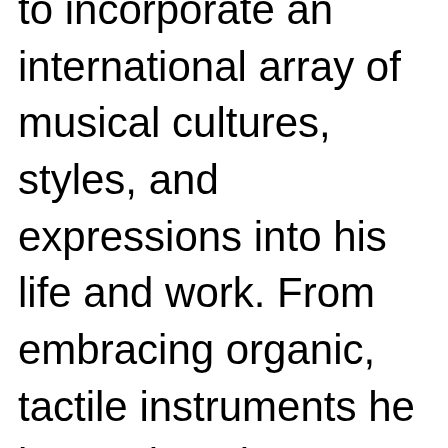to incorporate an international array of musical cultures, styles, and expressions into his life and work. From embracing organic, tactile instruments he learned to play as a child to collaborating with Sonos's engineering team to tune Arc, Göransson is